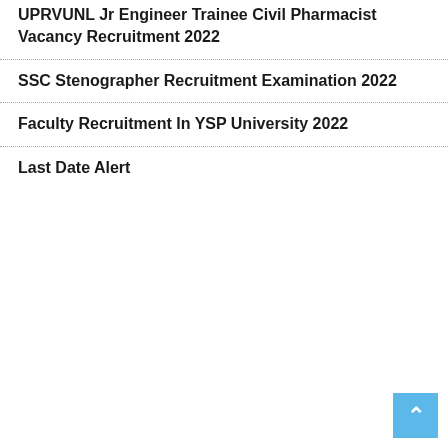UPRVUNL Jr Engineer Trainee Civil Pharmacist Vacancy Recruitment 2022
SSC Stenographer Recruitment Examination 2022
Faculty Recruitment In YSP University 2022
Last Date Alert